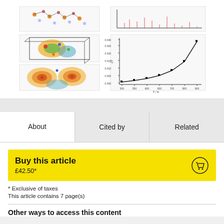[Figure (other): Scientific figures showing crystal structure diagrams, 3D visualizations with colored orbitals/electron density maps, and a line graph showing a curve with data points rising from approximately 0.001 to 0.035 over a temperature range from about 500 to 700 K.]
About
Cited by
Related
Buy this article
£42.50*
* Exclusive of taxes
This article contains 7 page(s)
Other ways to access this content